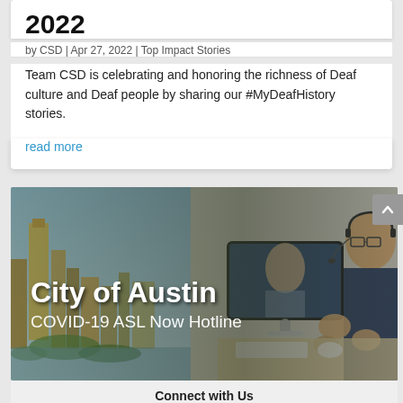2022
by CSD | Apr 27, 2022 | Top Impact Stories
Team CSD is celebrating and honoring the richness of Deaf culture and Deaf people by sharing our #MyDeafHistory stories.
read more
[Figure (photo): City of Austin COVID-19 ASL Now Hotline banner image showing Austin skyline on the left and a person signing in front of an iMac computer on the right, with overlay text 'City of Austin COVID-19 ASL Now Hotline']
Connect with Us